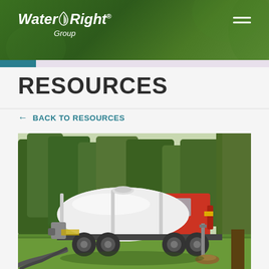[Figure (logo): Water Right Group logo in white italic text on dark green background with hamburger menu icon]
RESOURCES
← BACK TO RESOURCES
[Figure (photo): A red septic/vacuum truck with a large white tank is parked on green grass near trees. Hoses are connected to the ground, suggesting septic tank pumping service. A large tree is visible on the right side.]